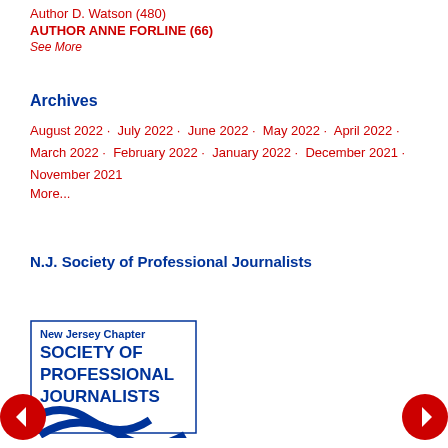Author D. Watson (480)
AUTHOR ANNE FORLINE (66)
See More
Archives
August 2022 · July 2022 · June 2022 · May 2022 · April 2022 · March 2022 · February 2022 · January 2022 · December 2021 · November 2021
More...
N.J. Society of Professional Journalists
[Figure (logo): New Jersey Chapter Society of Professional Journalists logo — dark blue text on white background with a stylized newspaper graphic]